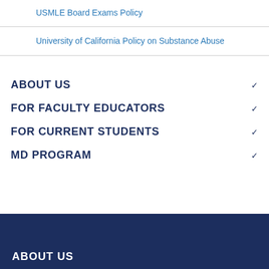USMLE Board Exams Policy
University of California Policy on Substance Abuse
ABOUT US
FOR FACULTY EDUCATORS
FOR CURRENT STUDENTS
MD PROGRAM
ABOUT US